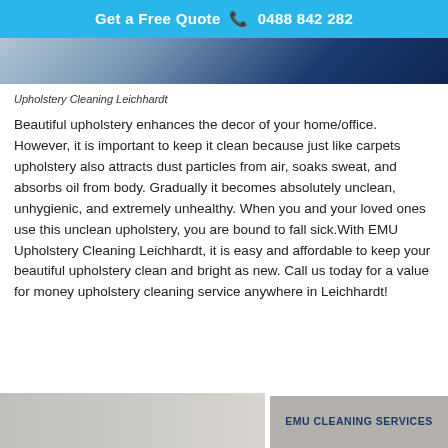Get a Free Quote  📞 0488 842 282
[Figure (photo): Photo of upholstery cleaning service workers, cropped at top of page]
Upholstery Cleaning Leichhardt
Beautiful upholstery enhances the decor of your home/office. However, it is important to keep it clean because just like carpets upholstery also attracts dust particles from air, soaks sweat, and absorbs oil from body. Gradually it becomes absolutely unclean, unhygienic, and extremely unhealthy. When you and your loved ones use this unclean upholstery, you are bound to fall sick.With EMU Upholstery Cleaning Leichhardt, it is easy and affordable to keep your beautiful upholstery clean and bright as new. Call us today for a value for money upholstery cleaning service anywhere in Leichhardt!
[Figure (logo): EMU Cleaning Services logo box in grey/blue at bottom right]
[Figure (photo): Partial photo of upholstery cleaning at bottom left]